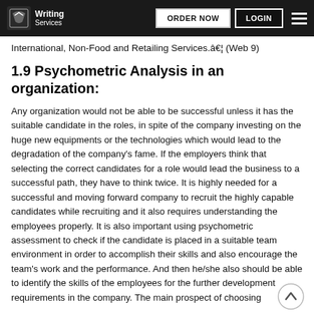Writing Services — ORDER NOW | LOGIN
International, Non-Food and Retailing Services.â€¦ (Web 9)
1.9 Psychometric Analysis in an organization:
Any organization would not be able to be successful unless it has the suitable candidate in the roles, in spite of the company investing on the huge new equipments or the technologies which would lead to the degradation of the company's fame. If the employers think that selecting the correct candidates for a role would lead the business to a successful path, they have to think twice. It is highly needed for a successful and moving forward company to recruit the highly capable candidates while recruiting and it also requires understanding the employees properly. It is also important using psychometric assessment to check if the candidate is placed in a suitable team environment in order to accomplish their skills and also encourage the team's work and the performance. And then he/she also should be able to identify the skills of the employees for the further development requirements in the company. The main prospect of choosing